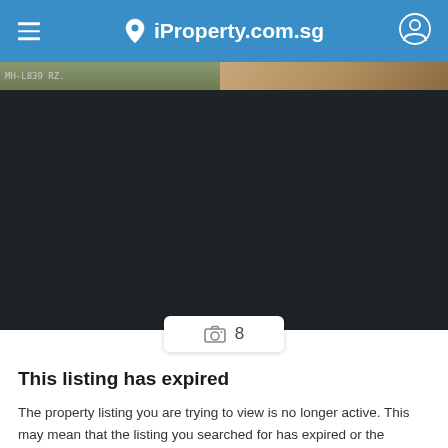iProperty.com.sg
[Figure (screenshot): Dark image gallery area showing partial property photos at top, with a camera icon badge showing count 8]
This listing has expired
The property listing you are trying to view is no longer active. This may mean that the listing you searched for has expired or the property has been taken off our search results listing.